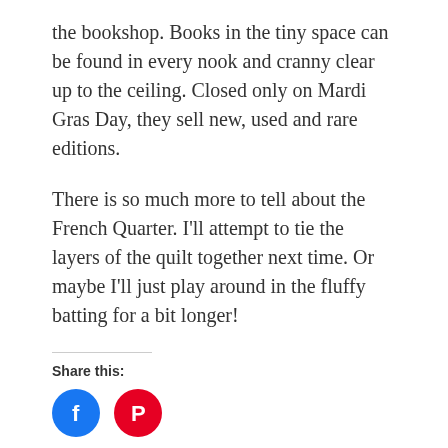the bookshop. Books in the tiny space can be found in every nook and cranny clear up to the ceiling. Closed only on Mardi Gras Day, they sell new, used and rare editions.
There is so much more to tell about the French Quarter. I'll attempt to tie the layers of the quilt together next time. Or maybe I'll just play around in the fluffy batting for a bit longer!
Share this:
[Figure (other): Social share buttons: Facebook (blue circle with 'f' icon) and Pinterest (red circle with 'P' icon)]
Loading...